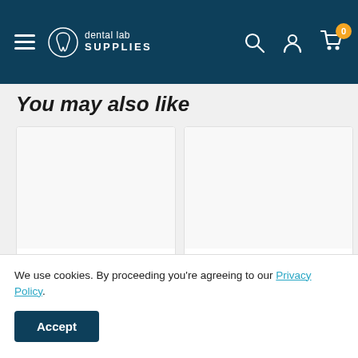[Figure (screenshot): Dental Lab Supplies website navigation bar with hamburger menu, logo, search icon, account icon, and cart icon with badge showing 0]
You may also like
[Figure (photo): Product card: Design your own mouthguard blank]
Design your own mouthguard blank
[Figure (photo): Partial product card: Design your own mo...pa]
Design your own mo... pa
We use cookies. By proceeding you're agreeing to our Privacy Policy.
Accept